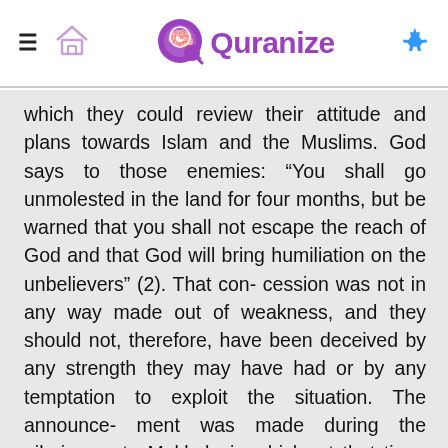Quranize
which they could review their attitude and plans towards Islam and the Muslims. God says to those enemies: “You shall go unmolested in the land for four months, but be warned that you shall not escape the reach of God and that God will bring humiliation on the unbelievers” (2). That con- cession was not in any way made out of weakness, and they should not, therefore, have been deceived by any strength they may have had or by any temptation to exploit the situation. The announce- ment was made during the pilgrimage to Makkah, in which, at that time, both Muslims and non-Muslims from all over the Arabian peninsula were able to